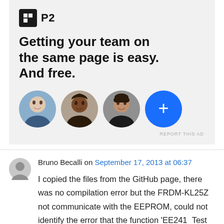[Figure (screenshot): P2 advertisement banner with logo, headline 'Getting your team on the same page is easy. And free.' and three circular profile photos plus a blue plus button]
Bruno Becalli on September 17, 2013 at 06:37
I copied the files from the GitHub page, there was no compilation error but the FRDM-KL25Z not communicate with the EEPROM, could not identify the error that the function 'EE241_Test ()' returns. I am using 24LC08B, I changed